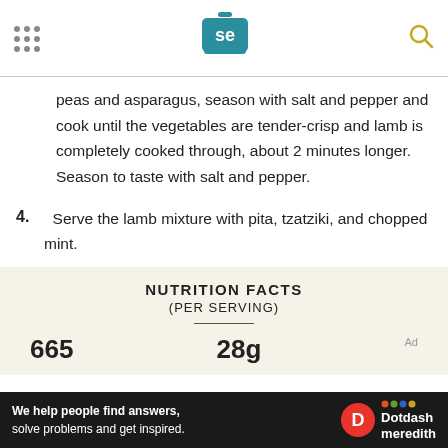[Serious Eats logo with pot icon and search icon]
peas and asparagus, season with salt and pepper and cook until the vegetables are tender-crisp and lamb is completely cooked through, about 2 minutes longer. Season to taste with salt and pepper.
4. Serve the lamb mixture with pita, tzatziki, and chopped mint.
NUTRITION FACTS
(PER SERVING)
665    28g
Ad
We help people find answers, solve problems and get inspired. Dotdash meredith